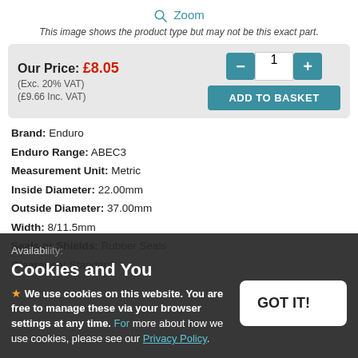🔍 Zoom
This image shows the product type but may not be this exact part.
Our Price: £8.05 (Exc. 20% VAT) (£9.66 Inc. VAT) [ADD TO BASKET] qty: 1
Brand: Enduro
Enduro Range: ABEC3
Measurement Unit: Metric
Inside Diameter: 22.00mm
Outside Diameter: 37.00mm
Width: 8/11.5mm
Seals or Shields: Rubber Seals
Clearance: Standard
Cookies and You
We use cookies on this website. You are free to manage these via your browser settings at any time. For more about how we use cookies, please see our Privacy Policy.